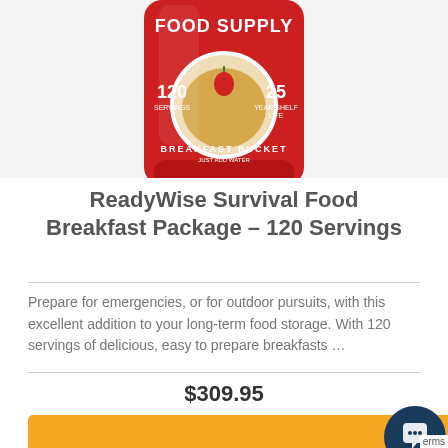[Figure (photo): Red ReadyWise Survival Food Breakfast Bucket container with 120 servings label and bowl of food image on front, on light gray background]
ReadyWise Survival Food Breakfast Package – 120 Servings
Prepare for emergencies, or for outdoor pursuits, with this excellent addition to your long-term food storage. With 120 servings of delicious, easy to prepare breakfasts …
$309.95
Add to cart